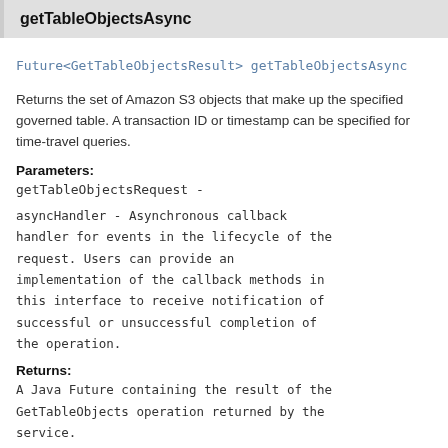getTableObjectsAsync
Future<GetTableObjectsResult> getTableObjectsAsync
Returns the set of Amazon S3 objects that make up the specified governed table. A transaction ID or timestamp can be specified for time-travel queries.
Parameters:
getTableObjectsRequest -
asyncHandler - Asynchronous callback handler for events in the lifecycle of the request. Users can provide an implementation of the callback methods in this interface to receive notification of successful or unsuccessful completion of the operation.
Returns:
A Java Future containing the result of the GetTableObjects operation returned by the service.